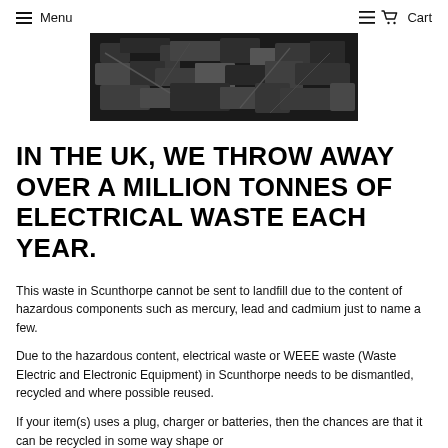Menu   Cart
[Figure (photo): Black and white overhead photo of a pile of discarded electronic waste and components]
IN THE UK, WE THROW AWAY OVER A MILLION TONNES OF ELECTRICAL WASTE EACH YEAR.
This waste in Scunthorpe cannot be sent to landfill due to the content of hazardous components such as mercury, lead and cadmium just to name a few.
Due to the hazardous content, electrical waste or WEEE waste (Waste Electric and Electronic Equipment) in Scunthorpe needs to be dismantled, recycled and where possible reused.
If your item(s) uses a plug, charger or batteries, then the chances are that it can be recycled in some way shape or